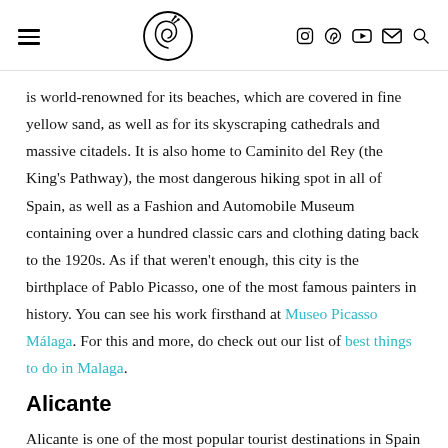Navigation header with hamburger menu, shell logo, and icons (Instagram, Pinterest, YouTube, email, search)
is world-renowned for its beaches, which are covered in fine yellow sand, as well as for its skyscraping cathedrals and massive citadels. It is also home to Caminito del Rey (the King's Pathway), the most dangerous hiking spot in all of Spain, as well as a Fashion and Automobile Museum containing over a hundred classic cars and clothing dating back to the 1920s. As if that weren't enough, this city is the birthplace of Pablo Picasso, one of the most famous painters in history. You can see his work firsthand at Museo Picasso Málaga. For this and more, do check out our list of best things to do in Malaga.
Alicante
Alicante is one of the most popular tourist destinations in Spain — and for good reason. Like many of the other cities on this list, it has...